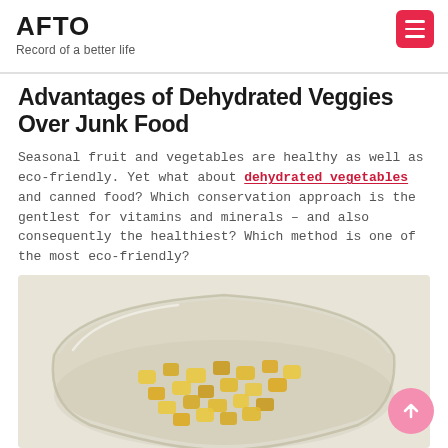AFTO
Record of a better life
Advantages of Dehydrated Veggies Over Junk Food
Seasonal fruit and vegetables are healthy as well as eco-friendly. Yet what about dehydrated vegetables and canned food? Which conservation approach is the gentlest for vitamins and minerals – and also consequently the healthiest? Which method is one of the most eco-friendly?
[Figure (photo): A glass bowl filled with dehydrated yellow/golden vegetable pieces (likely dehydrated corn or squash), shown from a slightly elevated angle against a light background.]